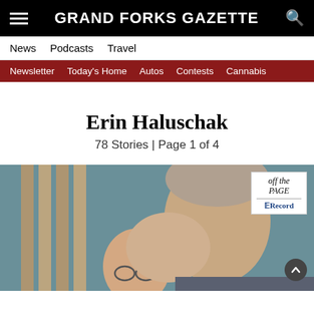GRAND FORKS GAZETTE
News   Podcasts   Travel
Newsletter   Today's Home   Autos   Contests   Cannabis
Erin Haluschak
78 Stories | Page 1 of 4
[Figure (photo): Two older men, one kissing the other on top of his head. Overlay shows 'off the PAGE' and 'Record' logos in top right corner.]